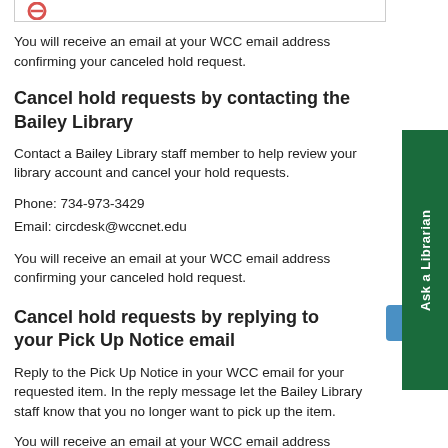[Figure (screenshot): Top portion of a UI element showing a cancel/close circle icon, partially visible at top of page]
You will receive an email at your WCC email address confirming your canceled hold request.
Cancel hold requests by contacting the Bailey Library
Contact a Bailey Library staff member to help review your library account and cancel your hold requests.
Phone: 734-973-3429
Email: circdesk@wccnet.edu
You will receive an email at your WCC email address confirming your canceled hold request.
Cancel hold requests by replying to your Pick Up Notice email
Reply to the Pick Up Notice in your WCC email for your requested item. In the reply message let the Bailey Library staff know that you no longer want to pick up the item.
You will receive an email at your WCC email address confirming your canceled hold request.